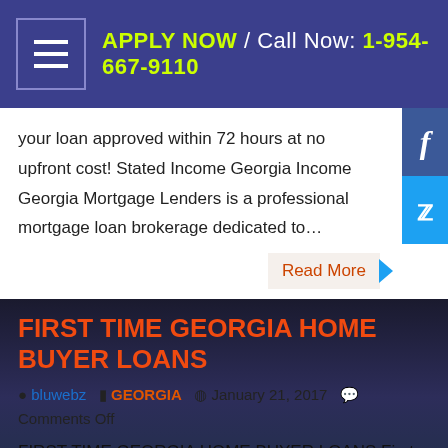APPLY NOW / Call Now: 1-954-667-9110
your loan approved within 72 hours at no upfront cost! Stated Income Georgia Income Georgia Mortgage Lenders is a professional mortgage loan brokerage dedicated to…
Read More
FIRST TIME GEORGIA HOME BUYER LOANS
bluwebz  GEORGIA  January 21, 2017  Comments Off
FIRST TIME GEORGIA HOME BUYER LOANS First time Georgia home loan programs are for home buyers seeking a home as primary residence. First time Georgia loan applicants with not much money for a down payment will find that the FHA government insured or VA guaranteed Georgia home loans are